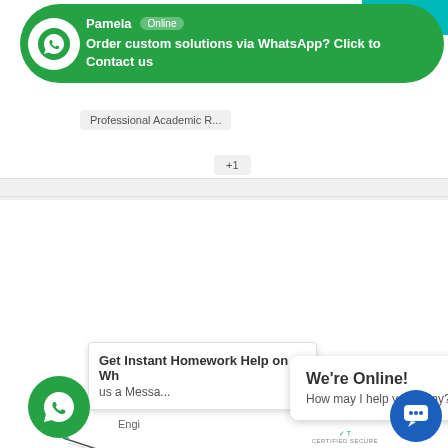[Figure (screenshot): WhatsApp chat bubble popup with Pamela Online badge and text 'Order custom solutions via WhatsApp? Click to Contact us']
View Profile
Professional Academic R...
+1
[Figure (logo): DrAceIt logo with pen icon]
DrAceIt
Dr AceIt
[Figure (other): Five outline star rating icons]
View Profile
[Figure (screenshot): WhatsApp green circle icon with phone]
Get Instant Homework Help on Wh... us a Messa...
We're Online! How may I help you today?
Engi
[Figure (screenshot): Blue chat bubble icon circle]
CERTIFIED SECURE